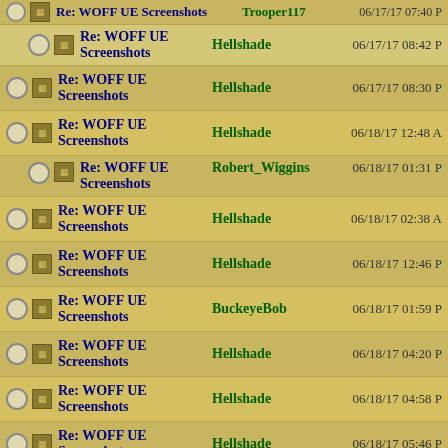| Select | Subject | Author | Date |
| --- | --- | --- | --- |
| ○ | Re: WOFF UE Screenshots | Trooper117 | 06/17/17 07:40 P |
| ○ | Re: WOFF UE Screenshots | Hellshade | 06/17/17 08:42 P |
| ○ | Re: WOFF UE Screenshots | Hellshade | 06/17/17 08:30 P |
| ○ | Re: WOFF UE Screenshots | Hellshade | 06/18/17 12:48 A |
| ○ | Re: WOFF UE Screenshots | Robert_Wiggins | 06/18/17 01:31 P |
| ○ | Re: WOFF UE Screenshots | Hellshade | 06/18/17 02:38 A |
| ○ | Re: WOFF UE Screenshots | Hellshade | 06/18/17 12:46 P |
| ○ | Re: WOFF UE Screenshots | BuckeyeBob | 06/18/17 01:59 P |
| ○ | Re: WOFF UE Screenshots | Hellshade | 06/18/17 04:20 P |
| ○ | Re: WOFF UE Screenshots | Hellshade | 06/18/17 04:58 P |
| ○ | Re: WOFF UE Screenshots | Hellshade | 06/18/17 05:46 P |
| ○ | Re: WOFF UE Screenshots | elephant | 06/18/17 07:36 P |
[Figure (screenshot): Advertisement banner: Doctors Stunned : This Removes Wrinkles, with face image and forward button]